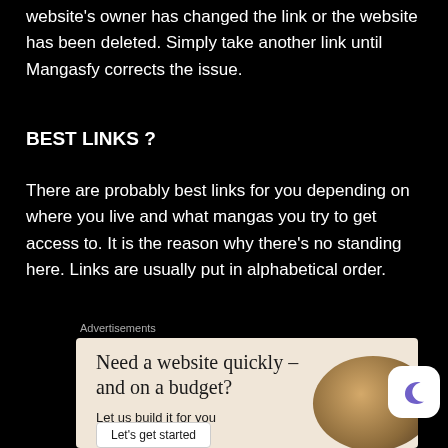website's owner has changed the link or the website has been deleted. Simply take another link until Mangasfy corrects the issue.
BEST LINKS ?
There are probably best links for you depending on where you live and what mangas you try to get access to. It is the reason why there's no standing here. Links are usually put in alphabetical order.
Advertisements
[Figure (infographic): Advertisement panel with beige/tan background. Headline: 'Need a website quickly – and on a budget?' Subtext: 'Let us build it for you'. A white button labeled 'Let's get started'. A circular image of a person on the right side.]